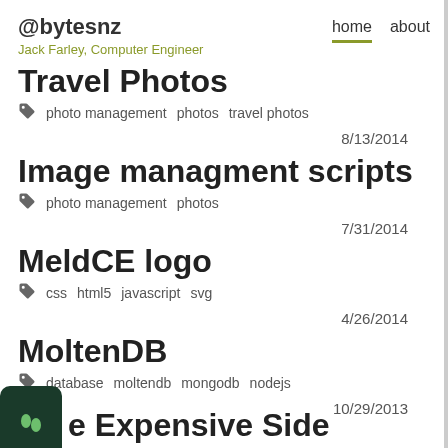@bytesnz | Jack Farley, Computer Engineer | home | about
Travel Photos
photo management   photos   travel photos
8/13/2014
Image managment scripts
photo management   photos
7/31/2014
MeldCE logo
css   html5   javascript   svg
4/26/2014
MoltenDB
database   moltendb   mongodb   nodejs
10/29/2013
e Expensive Side